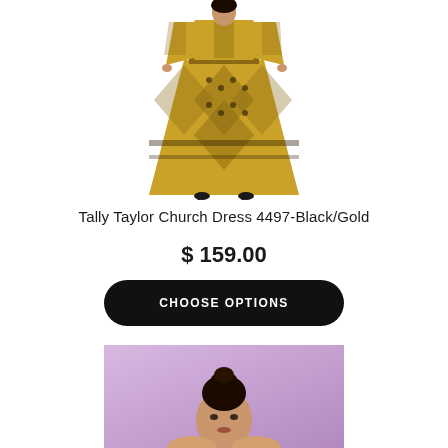[Figure (photo): Woman wearing a Tally Taylor Church Dress 4497 in Black/Gold pattern — a long maxi dress with geometric African-inspired print, 3/4 sleeves, and A-line silhouette. Model shown from torso down.]
Tally Taylor Church Dress 4497-Black/Gold
$ 159.00
CHOOSE OPTIONS
[Figure (photo): Partial view of a second product photo showing a woman from shoulders up with an updo hairstyle against a purple background.]